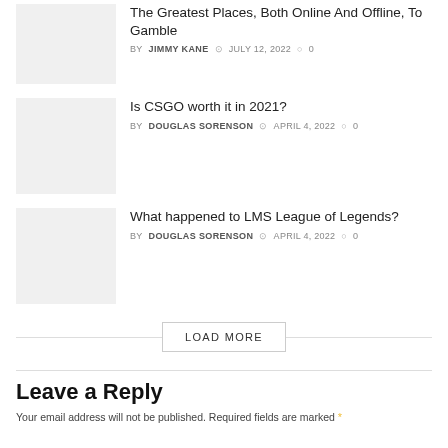[Figure (photo): Thumbnail image placeholder for article about gambling places]
The Greatest Places, Both Online And Offline, To Gamble
BY JIMMY KANE  JULY 12, 2022  0
[Figure (photo): Thumbnail image placeholder for CSGO article]
Is CSGO worth it in 2021?
BY DOUGLAS SORENSON  APRIL 4, 2022  0
[Figure (photo): Thumbnail image placeholder for LMS League of Legends article]
What happened to LMS League of Legends?
BY DOUGLAS SORENSON  APRIL 4, 2022  0
LOAD MORE
Leave a Reply
Your email address will not be published. Required fields are marked *